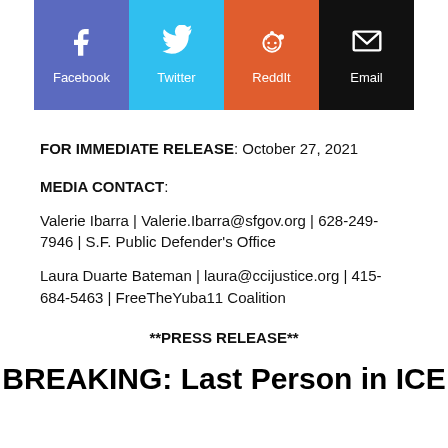[Figure (infographic): Social share buttons: Facebook (purple), Twitter (light blue), Reddit (orange), Email (black), each with icon and label]
FOR IMMEDIATE RELEASE: October 27, 2021
MEDIA CONTACT:
Valerie Ibarra | Valerie.Ibarra@sfgov.org | 628-249-7946 | S.F. Public Defender's Office
Laura Duarte Bateman | laura@ccijustice.org | 415-684-5463 | FreeTheYuba11 Coalition
**PRESS RELEASE**
BREAKING: Last Person in ICE